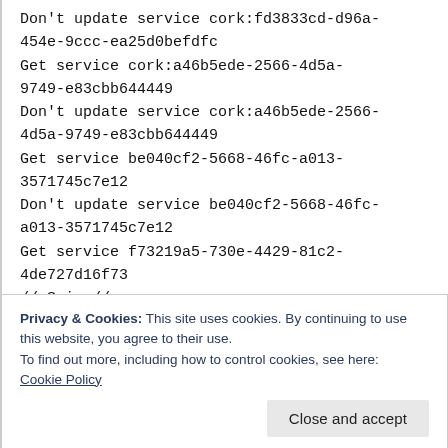Don't update service cork:fd3833cd-d96a-454e-9ccc-ea25d0befdfc
Get service cork:a46b5ede-2566-4d5a-9749-e83cbb644449
Don't update service cork:a46b5ede-2566-4d5a-9749-e83cbb644449
Get service be040cf2-5668-46fc-a013-3571745c7e12
Don't update service be040cf2-5668-46fc-a013-3571745c7e12
Get service f73219a5-730e-4429-81c2-4de727d16f73
// Snip //
Update service 08970f6b-2b84-4e84-81f6-
Privacy & Cookies: This site uses cookies. By continuing to use this website, you agree to their use.
To find out more, including how to control cookies, see here: Cookie Policy
Get service f37197c-46b9-4f87-aeb7-